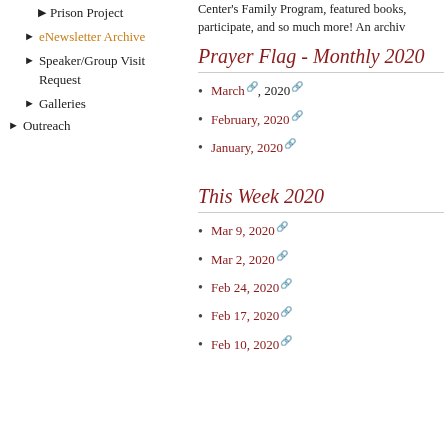Center's Family Program, featured books, participate, and so much more! An archiv
Prayer Flag - Monthly 2020
March, 2020
February, 2020
January, 2020
This Week 2020
Mar 9, 2020
Mar 2, 2020
Feb 24, 2020
Feb 17, 2020
Feb 10, 2020
Prison Project
eNewsletter Archive
Speaker/Group Visit Request
Galleries
Outreach